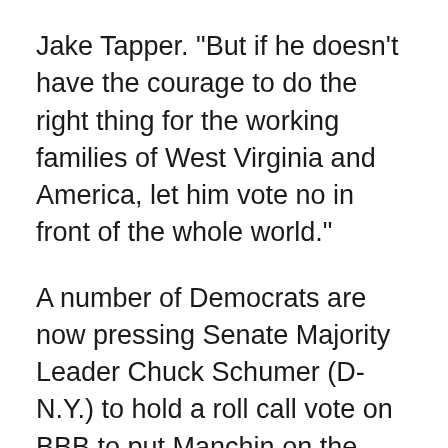Jake Tapper. "But if he doesn't have the courage to do the right thing for the working families of West Virginia and America, let him vote no in front of the whole world."
A number of Democrats are now pressing Senate Majority Leader Chuck Schumer (D-N.Y.) to hold a roll call vote on BBB to put Manchin on the spot.
In a "Dear Colleague" letter released Monday, Schumer said the Senate "will, in fact, consider the Build Back Better Act, very early in the new year so that every Member of this body has the opportunity to make